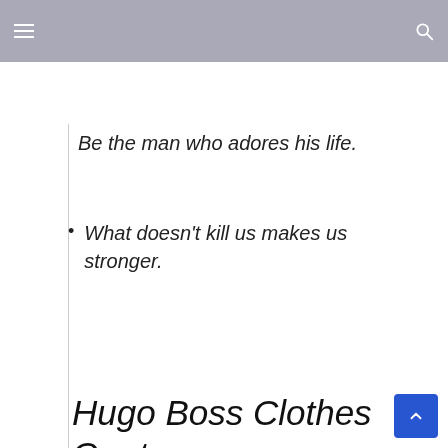Be the man who adores his life.
What doesn't kill us makes us stronger.
Hugo Boss Clothes Quotes